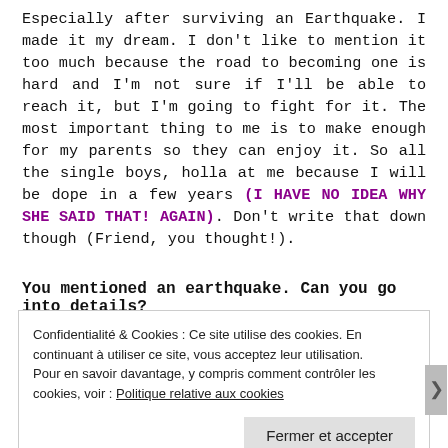Especially after surviving an Earthquake. I made it my dream. I don't like to mention it too much because the road to becoming one is hard and I'm not sure if I'll be able to reach it, but I'm going to fight for it. The most important thing to me is to make enough for my parents so they can enjoy it. So all the single boys, holla at me because I will be dope in a few years (I HAVE NO IDEA WHY SHE SAID THAT! AGAIN). Don't write that down though (Friend, you thought!).
You mentioned an earthquake. Can you go into details?
When and where did it happen?
Confidentialité & Cookies : Ce site utilise des cookies. En continuant à utiliser ce site, vous acceptez leur utilisation.
Pour en savoir davantage, y compris comment contrôler les cookies, voir : Politique relative aux cookies